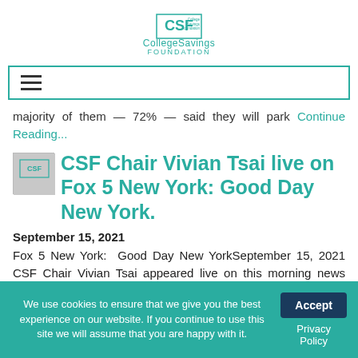CollegeSavings FOUNDATION
[Figure (other): Navigation bar with hamburger menu icon, teal border]
majority of them — 72% — said they will park Continue Reading...
CSF Chair Vivian Tsai live on Fox 5 New York: Good Day New York.
September 15, 2021
Fox 5 New York:  Good Day New YorkSeptember 15, 2021 CSF Chair Vivian Tsai appeared live on this morning news segment on Child Tax Credits and strategies to help families save for higher
We use cookies to ensure that we give you the best experience on our website. If you continue to use this site we will assume that you are happy with it.